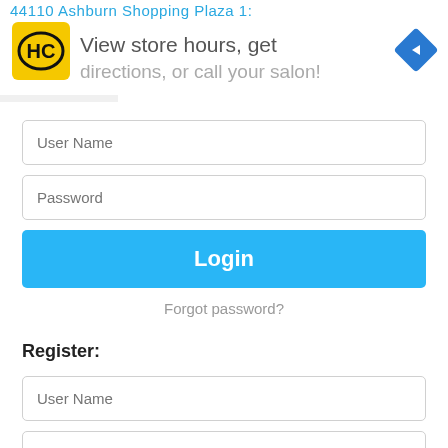[Figure (screenshot): Ad banner showing HC logo on yellow background with text 'View store hours, get directions, or call your salon!' and blue navigation diamond icon]
User Name
Password
Login
Forgot password?
Register:
User Name